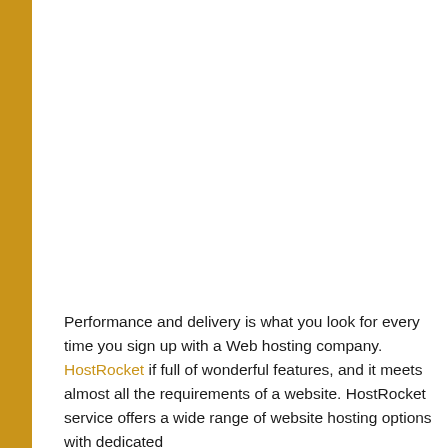[Figure (other): Large white/blank image placeholder area occupying the upper portion of the page]
Performance and delivery is what you look for every time you sign up with a Web hosting company. HostRocket if full of wonderful features, and it meets almost all the requirements of a website. HostRocket service offers a wide range of website hosting options with dedicated